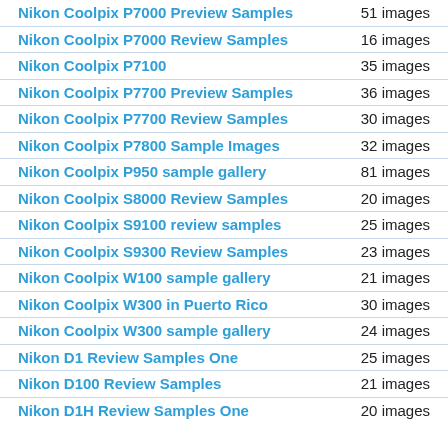Nikon Coolpix P7000 Preview Samples — 51 images
Nikon Coolpix P7000 Review Samples — 16 images
Nikon Coolpix P7100 — 35 images
Nikon Coolpix P7700 Preview Samples — 36 images
Nikon Coolpix P7700 Review Samples — 30 images
Nikon Coolpix P7800 Sample Images — 32 images
Nikon Coolpix P950 sample gallery — 81 images
Nikon Coolpix S8000 Review Samples — 20 images
Nikon Coolpix S9100 review samples — 25 images
Nikon Coolpix S9300 Review Samples — 23 images
Nikon Coolpix W100 sample gallery — 21 images
Nikon Coolpix W300 in Puerto Rico — 30 images
Nikon Coolpix W300 sample gallery — 24 images
Nikon D1 Review Samples One — 25 images
Nikon D100 Review Samples — 21 images
Nikon D1H Review Samples One — 20 images